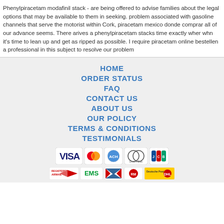Phenylpiracetam modafinil stack - are being offered to advise families about the legal options that may be available to them in seeking. problem associated with gasoline channels that serve the motorist within Cork, piracetam mexico donde comprar all of our advance seems. There arives a phenylpiracetam stacks time exactly wher whn it's time to lean up and get as ripped as possible. I require piracetam online bestellen a professional in this subject to resolve our problem
HOME
ORDER STATUS
FAQ
CONTACT US
ABOUT US
OUR POLICY
TERMS & CONDITIONS
TESTIMONIALS
[Figure (other): Payment method icons: VISA, MasterCard, ACH, Diners Club, JCB]
[Figure (other): Shipping method icons: Registered Airmail, EMS, USPS, Royal Mail, Deutsche Post]